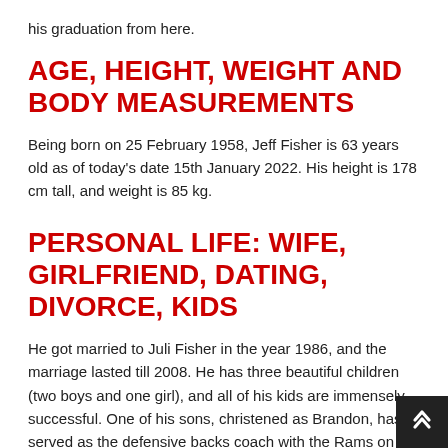his graduation from here.
AGE, HEIGHT, WEIGHT AND BODY MEASUREMENTS
Being born on 25 February 1958, Jeff Fisher is 63 years old as of today's date 15th January 2022. His height is 178 cm tall, and weight is 85 kg.
PERSONAL LIFE: WIFE, GIRLFRIEND, DATING, DIVORCE, KIDS
He got married to Juli Fisher in the year 1986, and the marriage lasted till 2008. He has three beautiful children (two boys and one girl), and all of his kids are immensely successful. One of his sons, christened as Brandon, has served as the defensive backs coach with the Rams on his dad's staff and is also played as a linebacker for the